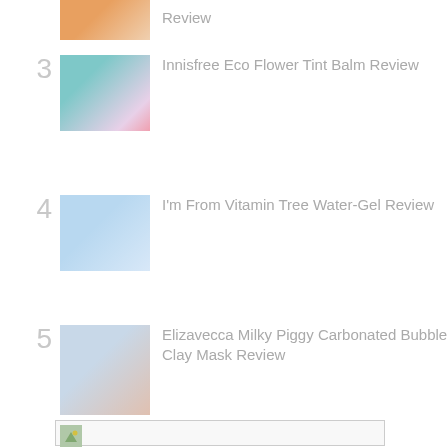Review
3 Innisfree Eco Flower Tint Balm Review
4 I'm From Vitamin Tree Water-Gel Review
5 Elizavecca Milky Piggy Carbonated Bubble Clay Mask Review
[Figure (photo): Small thumbnail image at bottom of page, partially visible]